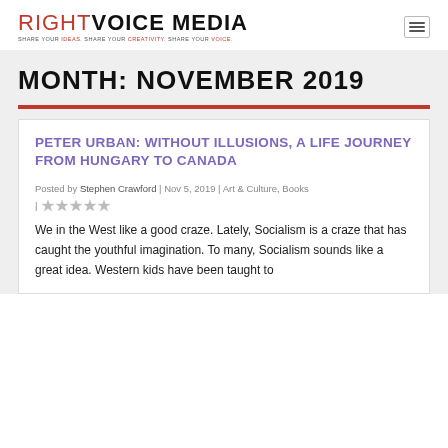RIGHT VOICE MEDIA — SHARE YOUR IDEAS. SHARE YOUR CREATIVITY. SHARE YOUR VOICE.
MONTH: NOVEMBER 2019
PETER URBAN: WITHOUT ILLUSIONS, A LIFE JOURNEY FROM HUNGARY TO CANADA
Posted by Stephen Crawford | Nov 5, 2019 | Art & Culture, Books |
We in the West like a good craze. Lately, Socialism is a craze that has caught the youthful imagination. To many, Socialism sounds like a great idea. Western kids have been taught to